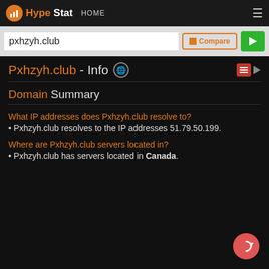HypeStat HOME
pxhzyh.club
Pxhzyh.club - Info
Domain Summary
What IP addresses does Pxhzyh.club resolve to?
Pxhzyh.club resolves to the IP addresses 51.79.50.199.
Where are Pxhzyh.club servers located in?
Pxhzyh.club has servers located in Canada.